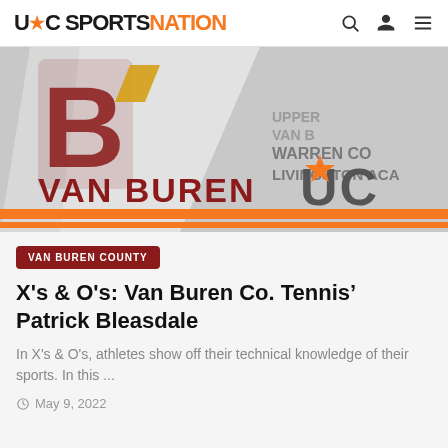UC SPORTS NATION
[Figure (illustration): Van Buren sports banner image showing VAN BUREN text in dark red, a large letter B logo, orange horizontal stripes, UC star logo, and text listing WARREN CO, LIVINGSTON ACA in the background]
VAN BUREN COUNTY
X's & O's: Van Buren Co. Tennis' Patrick Bleasdale
In X's & O's, athletes show off their technical knowledge of their sports. In this ...
May 9, 2022